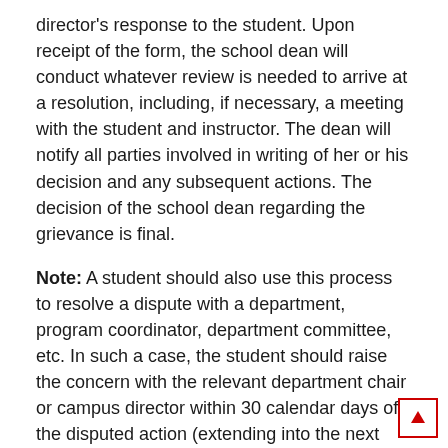director's response to the student. Upon receipt of the form, the school dean will conduct whatever review is needed to arrive at a resolution, including, if necessary, a meeting with the student and instructor. The dean will notify all parties involved in writing of her or his decision and any subsequent actions. The decision of the school dean regarding the grievance is final.
Note: A student should also use this process to resolve a dispute with a department, program coordinator, department committee, etc. In such a case, the student should raise the concern with the relevant department chair or campus director within 30 calendar days of the disputed action (extending into the next semester or term if necessary). The chairperson should respond within 14 days. If accord is not reached, the student should proceed to Step 3, filing a written grievance with the appropriate dean within 14 calendar days of the chairperson or campus